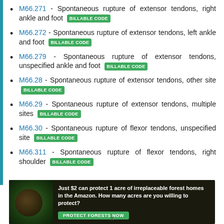M66.271 - Spontaneous rupture of extensor tendons, right ankle and foot BILLABLE CODE
M66.272 - Spontaneous rupture of extensor tendons, left ankle and foot BILLABLE CODE
M66.279 - Spontaneous rupture of extensor tendons, unspecified ankle and foot BILLABLE CODE
M66.28 - Spontaneous rupture of extensor tendons, other site BILLABLE CODE
M66.29 - Spontaneous rupture of extensor tendons, multiple sites BILLABLE CODE
M66.30 - Spontaneous rupture of flexor tendons, unspecified site BILLABLE CODE
M66.311 - Spontaneous rupture of flexor tendons, right shoulder BILLABLE CODE
[Figure (infographic): Advertisement banner: Just $2 can protect 1 acre of irreplaceable forest homes in the Amazon. How many acres are you willing to protect? PROTECT FORESTS NOW]
x